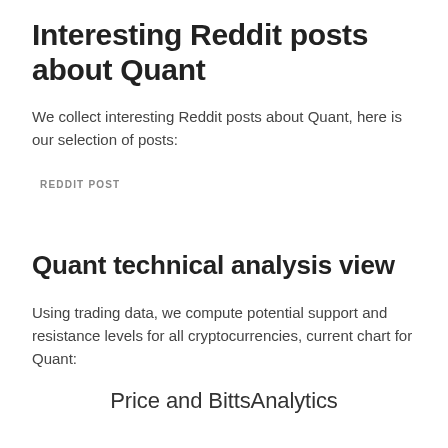Interesting Reddit posts about Quant
We collect interesting Reddit posts about Quant, here is our selection of posts:
REDDIT POST
Quant technical analysis view
Using trading data, we compute potential support and resistance levels for all cryptocurrencies, current chart for Quant:
Price and BittsAnalytics